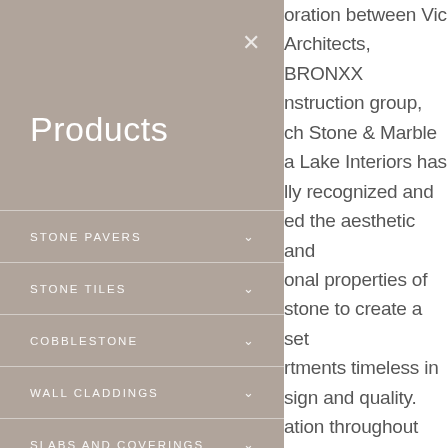Products
STONE PAVERS
STONE TILES
COBBLESTONE
WALL CLADDINGS
SLABS AND COVERINGS
CUSTOM STONE COLOURS
oration between Vic Architects, BRONXX nstruction group, ch Stone & Marble a Lake Interiors has lly recognized and ed the aesthetic and onal properties of stone to create a set rtments timeless in sign and quality. ation throughout the n and build allowed to understand and iate the developer's and subsequently